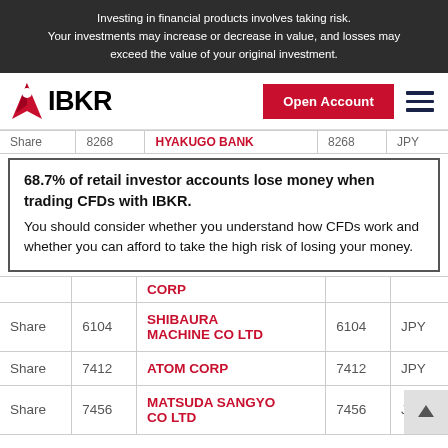Investing in financial products involves taking risk. Your investments may increase or decrease in value, and losses may exceed the value of your original investment.
[Figure (logo): IBKR (Interactive Brokers) logo with red chevron icon and bold IBKR text, plus Open Account red button and hamburger menu]
| Type | Code | Company | Code2 | Currency |
| --- | --- | --- | --- | --- |
| Share | 8268 | HYAKUGO BANK | 8268 | JPY |
| Share |  | CORP |  |  |
| Share | 6104 | SHIBAURA MACHINE CO LTD | 6104 | JPY |
| Share | 7412 | ATOM CORP | 7412 | JPY |
| Share | 7456 | MATSUDA SANGYO CO LTD | 7456 | JPY |
68.7% of retail investor accounts lose money when trading CFDs with IBKR. You should consider whether you understand how CFDs work and whether you can afford to take the high risk of losing your money.